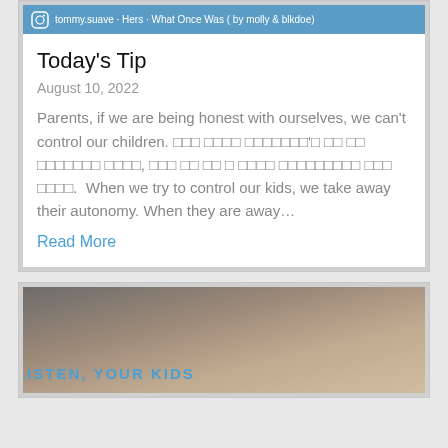[Figure (screenshot): Instagram post bar with icon and text: tommy.suave · Hers · What Once Was (by molly & blkdoe)]
Today's Tip
August 10, 2022
Parents, if we are being honest with ourselves, we can't control our children. [non-latin text] When we try to control our kids, we take away their autonomy. When they are away…
Read More
[Figure (photo): Image with beige/brown gradient background and text 'LISTEN, YOUR KIDS' in blue text at bottom left]